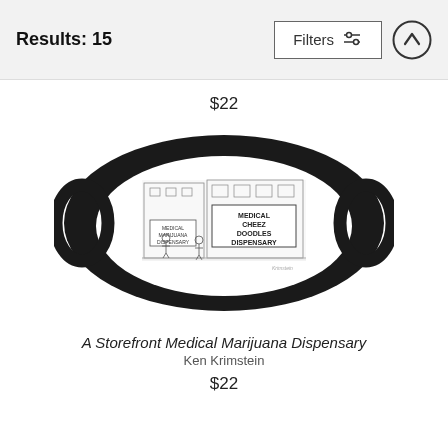Results: 15
Filters
$22
[Figure (photo): A face mask product featuring a New Yorker cartoon depicting a storefront medical marijuana dispensary (labeled 'Medical Cheez Doodles Dispensary'). The mask is oval-shaped with a thick black border and ear loops, printed with a black-and-white cartoon illustration of a street scene.]
A Storefront Medical Marijuana Dispensary
Ken Krimstein
$22